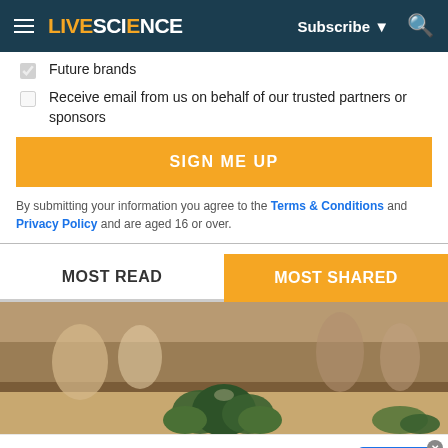LIVESCIENCE — Subscribe — Search
Future brands
Receive email from us on behalf of our trusted partners or sponsors
SIGN ME UP
By submitting your information you agree to the Terms & Conditions and Privacy Policy and are aged 16 or over.
MOST READ
MOST SHARED
[Figure (photo): Blurred photo of a kitchen scene with green plants/vegetables on a wooden table]
Parallaxes Capital, LLC
Alternative Asset Management
OPEN